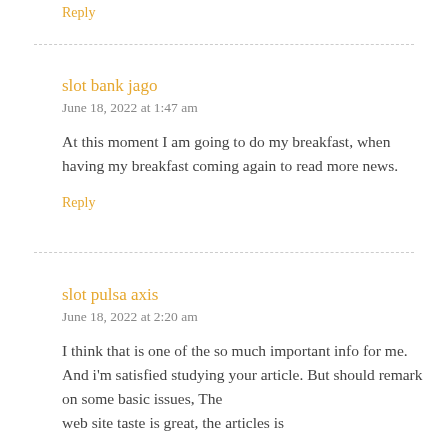Reply
slot bank jago
June 18, 2022 at 1:47 am
At this moment I am going to do my breakfast, when having my breakfast coming again to read more news.
Reply
slot pulsa axis
June 18, 2022 at 2:20 am
I think that is one of the so much important info for me. And i'm satisfied studying your article. But should remark on some basic issues, The web site taste is great, the articles is